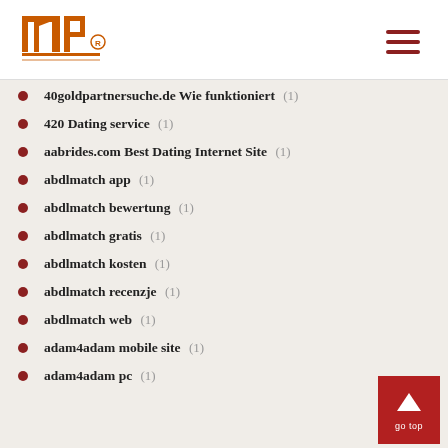INP logo and navigation
40goldpartnersuche.de Wie funktioniert (1)
420 Dating service (1)
aabrides.com Best Dating Internet Site (1)
abdlmatch app (1)
abdlmatch bewertung (1)
abdlmatch gratis (1)
abdlmatch kosten (1)
abdlmatch recenzje (1)
abdlmatch web (1)
adam4adam mobile site (1)
adam4adam pc (1)